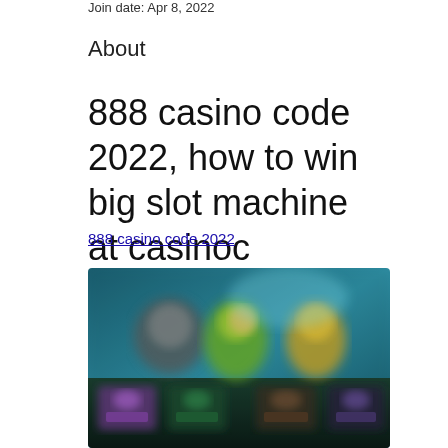Join date: Apr 8, 2022
About
888 casino code 2022, how to win big slot machine at casinoc
888 casino code 2022
[Figure (screenshot): Blurred screenshot of a casino game or lobby interface with colorful characters and game thumbnails on a dark teal background.]